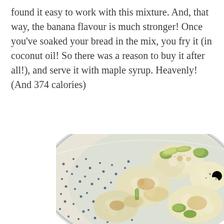found it easy to work with this mixture. And, that way, the banana flavour is much stronger! Once you've soaked your bread in the mix, you fry it (in coconut oil! So there was a reason to buy it after all!), and serve it with maple syrup. Heavenly! (And 374 calories)
[Figure (photo): A blue and white dotted ceramic bowl filled with roasted cauliflower florets and green olives or capers, viewed from above at an angle.]